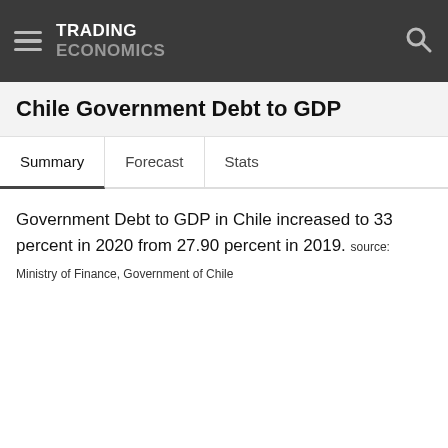TRADING ECONOMICS
Chile Government Debt to GDP
Summary   Forecast   Stats
Government Debt to GDP in Chile increased to 33 percent in 2020 from 27.90 percent in 2019. source: Ministry of Finance, Government of Chile